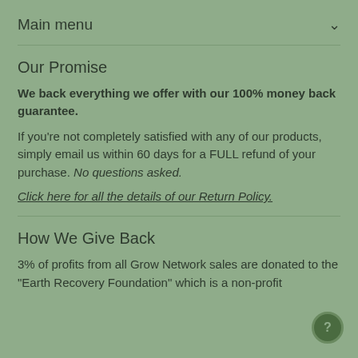Main menu
Our Promise
We back everything we offer with our 100% money back guarantee.
If you're not completely satisfied with any of our products, simply email us within 60 days for a FULL refund of your purchase. No questions asked.
Click here for all the details of our Return Policy.
How We Give Back
3% of profits from all Grow Network sales are donated to the "Earth Recovery Foundation" which is a non-profit organization that…